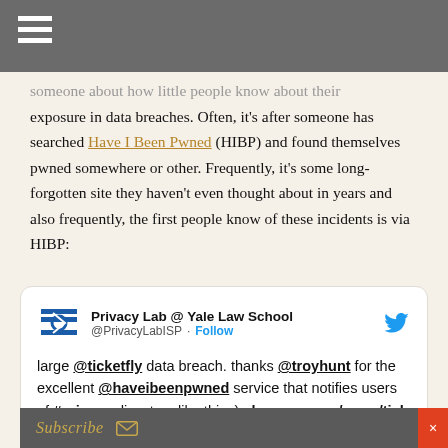someone about how little people know about their exposure in data breaches. Often, it's after someone has searched Have I Been Pwned (HIBP) and found themselves pwned somewhere or other. Frequently, it's some long-forgotten site they haven't even thought about in years and also frequently, the first people know of these incidents is via HIBP:
[Figure (screenshot): Embedded tweet from Privacy Lab @ Yale Law School (@PrivacyLabISP) with Follow button and Twitter bird logo. Tweet text reads: 'large @ticketfly data breach. thanks @troyhunt for the excellent @haveibeenpwned service that notifies users of #privacy disasters like this :) cbssnews.com/news/tick...']
Subscribe